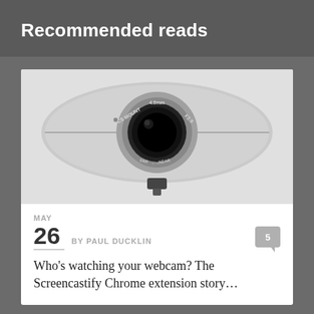Recommended reads
[Figure (photo): Close-up photograph of a webcam with a large lens labeled CS MOUNT, 4.0mm, F2.0, NEAR, FAR, shaped like an eye or oval disc, silver/grey color, mounted on a small stand]
MAY
26  BY PAUL DUCKLIN  5
Who's watching your webcam? The Screencastify Chrome extension story…